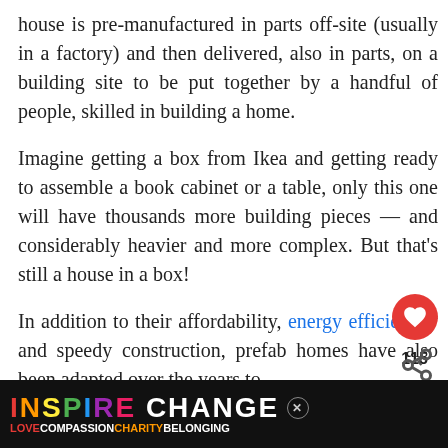house is pre-manufactured in parts off-site (usually in a factory) and then delivered, also in parts, on a building site to be put together by a handful of people, skilled in building a home.
Imagine getting a box from Ikea and getting ready to assemble a book cabinet or a table, only this one will have thousands more building pieces — and considerably heavier and more complex. But that's still a house in a box!
In addition to their affordability, energy efficiency and speedy construction, prefab homes have also been adapted over the years to are...